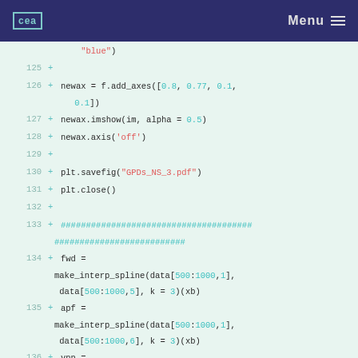CEA | Menu
[Figure (screenshot): Code diff view showing Python source lines 125-136 with line numbers, plus signs for additions, and syntax highlighting. Lines show matplotlib and scipy interpolation code.]